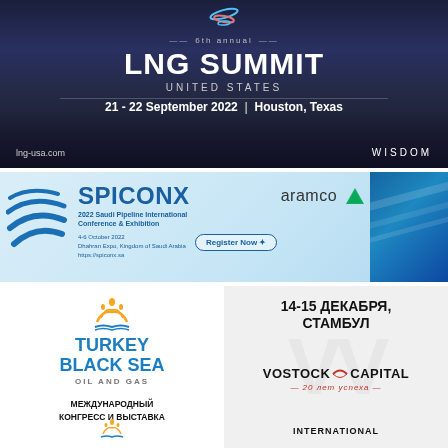[Figure (illustration): LNG Summit United States promotional banner. Dark city skyline background. Text: 6th annual LNG SUMMIT UNITED STATES. 21 - 22 September 2022 | Houston, Texas. lng-usa.com. WISDOM logo.]
[Figure (illustration): SPICONX 2022 Saudi Pipeline International Conference & Exhibition banner. Blue gradient background. 4-6 October 2022, Dhahran Expo, Kingdom of Saudi Arabia. Register Now button. aramco logo. Blue pipeline imagery on right.]
[Figure (illustration): Turkey Black Sea Oil and Gas International Congress and Exhibition banner. White background with blue logo. Text in Russian: МЕЖДУНАРОДНЫЙ КОНГРЕСС И ВЫСТАВКА. Small logo at bottom.]
[Figure (illustration): Vostock Capital banner with date 14-15 ДЕКАБРЯ, СТАМБУЛ in Russian. Vostock Capital logo with tagline 20 лет успеха. INTERNATIONAL text at bottom. Grey watermark background.]